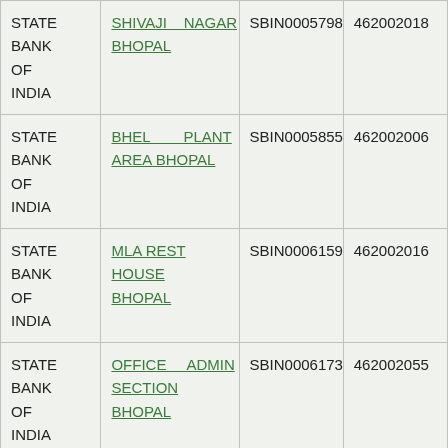| STATE BANK OF INDIA | SHIVAJI NAGAR BHOPAL | SBIN0005798 | 462002018 |
| STATE BANK OF INDIA | BHEL PLANT AREA BHOPAL | SBIN0005855 | 462002006 |
| STATE BANK OF INDIA | MLA REST HOUSE BHOPAL | SBIN0006159 | 462002016 |
| STATE BANK OF INDIA | OFFICE ADMIN SECTION BHOPAL | SBIN0006173 | 462002055 |
|  |  |  |  |